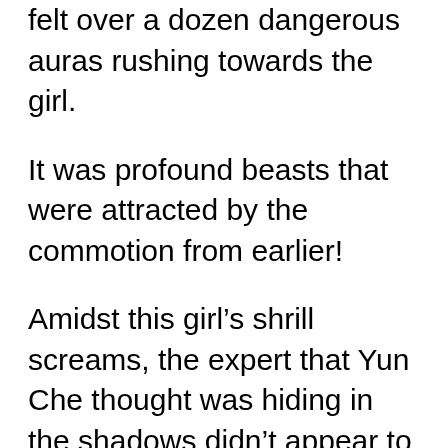felt over a dozen dangerous auras rushing towards the girl.
It was profound beasts that were attracted by the commotion from earlier!
Amidst this girl’s shrill screams, the expert that Yun Che thought was hiding in the shadows didn’t appear to deal with the danger of the profound beasts.
Don’t tell me… She’s really alone?